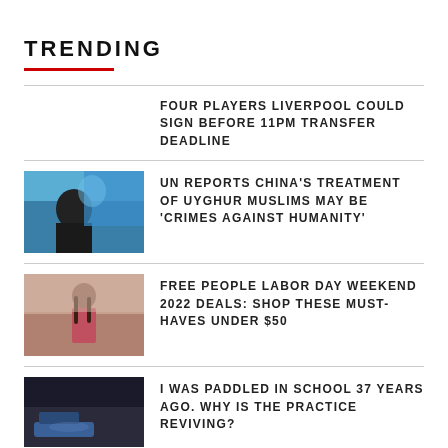TRENDING
FOUR PLAYERS LIVERPOOL COULD SIGN BEFORE 11PM TRANSFER DEADLINE
UN REPORTS CHINA'S TREATMENT OF UYGHUR MUSLIMS MAY BE 'CRIMES AGAINST HUMANITY'
FREE PEOPLE LABOR DAY WEEKEND 2022 DEALS: SHOP THESE MUST-HAVES UNDER $50
I WAS PADDLED IN SCHOOL 37 YEARS AGO. WHY IS THE PRACTICE REVIVING?